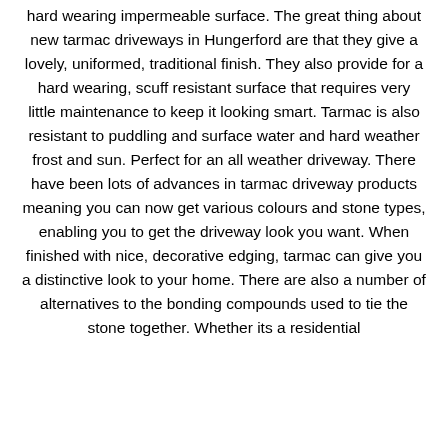hard wearing impermeable surface. The great thing about new tarmac driveways in Hungerford are that they give a lovely, uniformed, traditional finish. They also provide for a hard wearing, scuff resistant surface that requires very little maintenance to keep it looking smart. Tarmac is also resistant to puddling and surface water and hard weather frost and sun. Perfect for an all weather driveway. There have been lots of advances in tarmac driveway products meaning you can now get various colours and stone types, enabling you to get the driveway look you want. When finished with nice, decorative edging, tarmac can give you a distinctive look to your home. There are also a number of alternatives to the bonding compounds used to tie the stone together. Whether its a residential